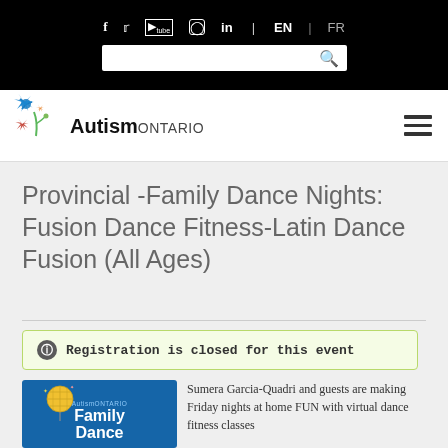f  twitter  youtube  instagram  in  EN | FR  [search bar]
[Figure (logo): AutismOntario logo with colorful flower/firework graphic and text 'AutismONTARIO']
Provincial -Family Dance Nights: Fusion Dance Fitness-Latin Dance Fusion (All Ages)
Registration is closed for this event
[Figure (illustration): Blue event poster showing 'AutismONTARIO Family Dance' with disco ball graphic]
Sumera Garcia-Quadri and guests are making Friday nights at home FUN with virtual dance fitness classes